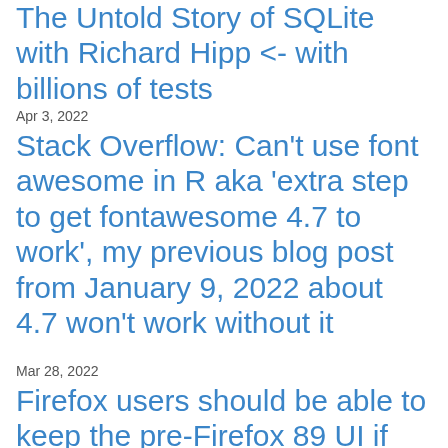The Untold Story of SQLite with Richard Hipp <- with billions of tests
Apr 3, 2022
Stack Overflow: Can't use font awesome in R aka 'extra step to get fontawesome 4.7 to work', my previous blog post from January 9, 2022 about 4.7 won't work without it
Mar 28, 2022
Firefox users should be able to keep the pre-Firefox 89 UI if they want but the reality is this isn't possible since we